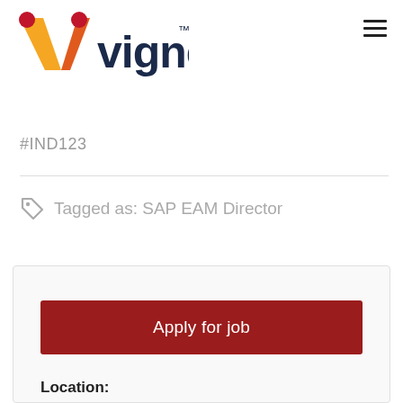[Figure (logo): Vignetic company logo with stylized V in orange/red/yellow and dark blue wordmark 'vignetic' with TM mark]
#IND123
Tagged as: SAP EAM Director
Apply for job
Location:
Atlanta GA